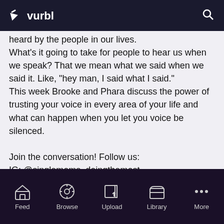vurbl
heard by the people in our lives.
What's it going to take for people to hear us when we speak? That we mean what we said when we said it. Like, "hey man, I said what I said."
This week Brooke and Phara discuss the power of trusting your voice in every area of your life and what can happen when you let you voice be silenced.

Join the conversation! Follow us:
IG: @singlemoms_doingthemost
Twitter:@singlemoms_dtm
FB Page: Single Moms Doing The Most
Sponsorships: off for this episode
Feed  Browse  Upload  Library  More